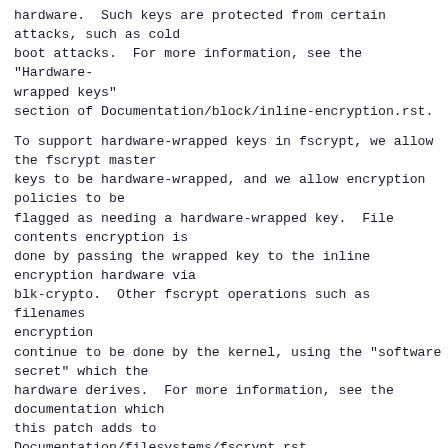hardware.  Such keys are protected from certain attacks, such as cold boot attacks.  For more information, see the "Hardware-wrapped keys" section of Documentation/block/inline-encryption.rst.
To support hardware-wrapped keys in fscrypt, we allow the fscrypt master keys to be hardware-wrapped, and we allow encryption policies to be flagged as needing a hardware-wrapped key.  File contents encryption is done by passing the wrapped key to the inline encryption hardware via blk-crypto.  Other fscrypt operations such as filenames encryption continue to be done by the kernel, using the "software secret" which the hardware derives.  For more information, see the documentation which this patch adds to Documentation/filesystems/fscrypt.rst.
Note that this feature doesn't require any filesystem-specific changes. However it does depend on inline encryption support, and thus currently it is only applicable to ext4 and f2fs, not to ubifs or CephFS.